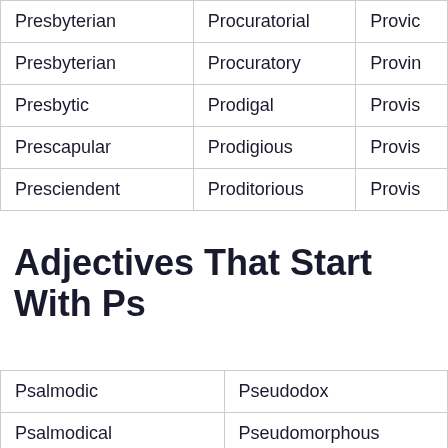| Column1 | Column2 | Column3 |
| --- | --- | --- |
| Presbyterian | Procuratorial | Provic |
| Presbyterian | Procuratory | Provin |
| Presbytic | Prodigal | Provis |
| Prescapular | Prodigious | Provis |
| Presciendent | Proditorious | Provis |
Adjectives That Start With Ps
| Column1 | Column2 |
| --- | --- |
| Psalmodic | Pseudodox |
| Psalmodical | Pseudomorphous |